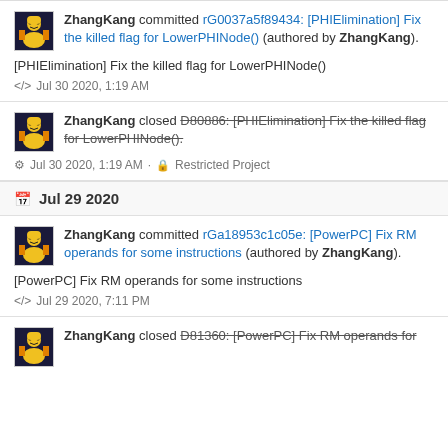ZhangKang committed rG0037a5f89434: [PHIElimination] Fix the killed flag for LowerPHINode() (authored by ZhangKang).
[PHIElimination] Fix the killed flag for LowerPHINode()
Jul 30 2020, 1:19 AM
ZhangKang closed D80886: [PHIElimination] Fix the killed flag for LowerPHINode().
Jul 30 2020, 1:19 AM · Restricted Project
Jul 29 2020
ZhangKang committed rGa18953c1c05e: [PowerPC] Fix RM operands for some instructions (authored by ZhangKang).
[PowerPC] Fix RM operands for some instructions
Jul 29 2020, 7:11 PM
ZhangKang closed D81360: [PowerPC] Fix RM operands for some instructions.